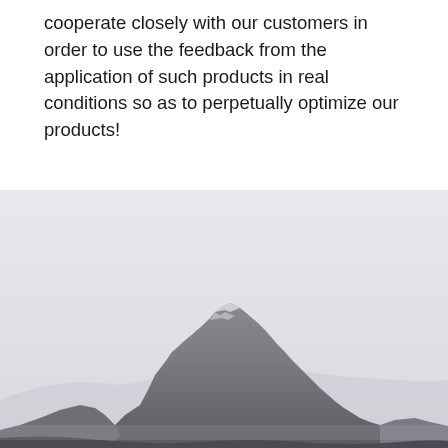cooperate closely with our customers in order to use the feedback from the application of such products in real conditions so as to perpetually optimize our products!
[Figure (photo): Black and white photograph of a rocky mountain peak with snowy ridgeline against a light gray sky]